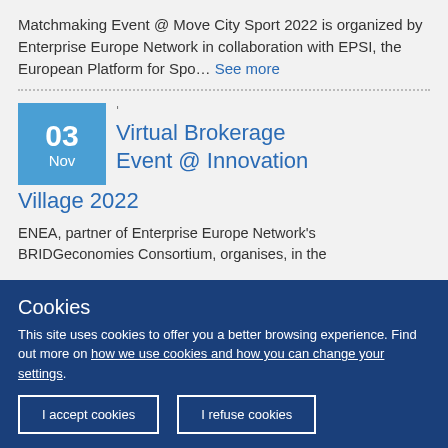Matchmaking Event @ Move City Sport 2022 is organized by Enterprise Europe Network in collaboration with EPSI, the European Platform for Spo… See more
03 Nov Virtual Brokerage Event @ Innovation Village 2022
ENEA, partner of Enterprise Europe Network's BRIDGeconomies Consortium, organises, in the
Cookies
This site uses cookies to offer you a better browsing experience. Find out more on how we use cookies and how you can change your settings.